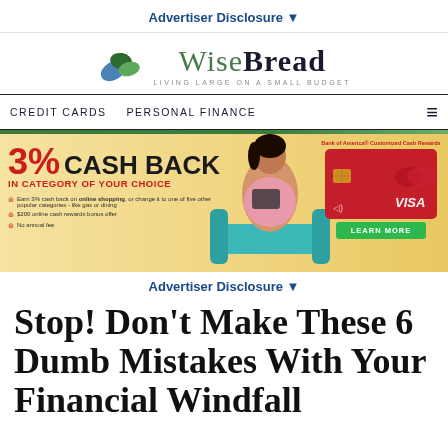Advertiser Disclosure ▼
[Figure (logo): WiseBread logo with leaf icon and tagline 'LIVING LARGE ON A SMALL BUDGET']
CREDIT CARDS  PERSONAL FINANCE
[Figure (photo): Bank of America Customized Cash Rewards advertisement banner: 3% Cash Back in category of your choice, with woman on couch and credit card image, Learn More button]
Advertiser Disclosure ▼
Stop! Don't Make These 6 Dumb Mistakes With Your Financial Windfall